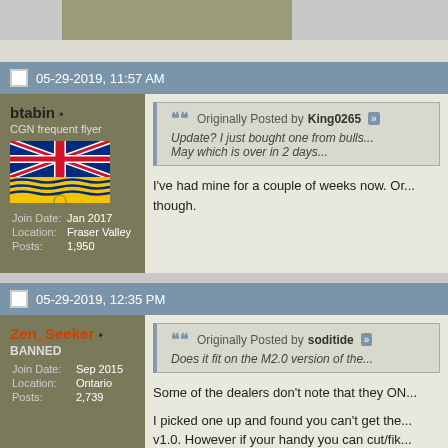05-29-2019, 11:57 AM
btabin •
CGN frequent flyer
[Figure (illustration): British Columbia flag]
Join Date: Jan 2017
Location: Fraser Valley
Posts: 1,950
Originally Posted by King0265 — Update? I just bought one from bulls... May which is over in 2 days...
I've had mine for a couple of weeks now. Or... though.
05-29-2019, 12:35 PM
Zen_Seeker •
BANNED
Join Date: Sep 2015
Location: Ontario
Posts: 2,739
Originally Posted by soditide — Does it fit on the M2.0 version of the...
Some of the dealers don't note that they ON...
I picked one up and found you can't get the... v1.0. However if your handy you can cut/fik...